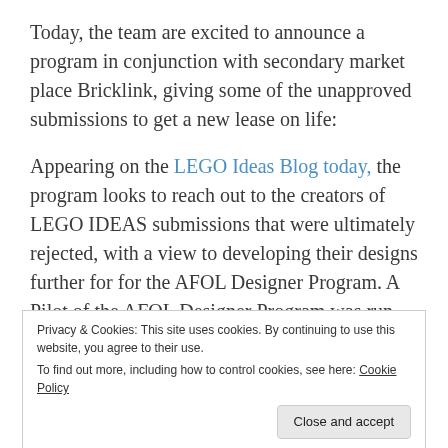Today, the team are excited to announce a program in conjunction with secondary market place Bricklink, giving some of the unapproved submissions to get a new lease on life:
Appearing on the LEGO Ideas Blog today, the program looks to reach out to the creators of LEGO IDEAS submissions that were ultimately rejected, with a view to developing their designs further for for the AFOL Designer Program. A Pilot of the AFOL Designer Program was run by Bricklink in 2018-
Privacy & Cookies: This site uses cookies. By continuing to use this website, you agree to their use. To find out more, including how to control cookies, see here: Cookie Policy
others that will not be able to be realised will not